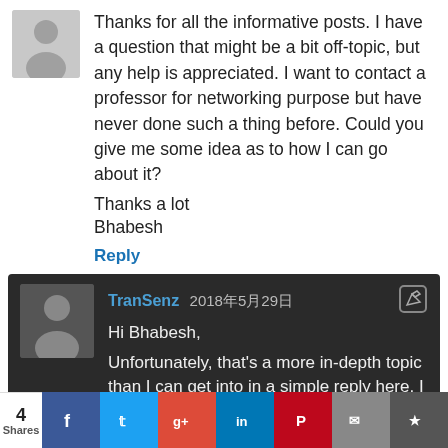[Figure (illustration): Gray avatar placeholder silhouette icon for user profile]
Thanks for all the informative posts. I have a question that might be a bit off-topic, but any help is appreciated. I want to contact a professor for networking purpose but have never done such a thing before. Could you give me some idea as to how I can go about it?
Thanks a lot
Bhabesh
Reply
[Figure (illustration): Gray avatar placeholder silhouette icon for user TranSenz on dark background]
TranSenz 2018年5月29日
Hi Bhabesh,
Unfortunately, that's a more in-depth topic than I can get into in a simple reply here. I wrote an article
4 Shares